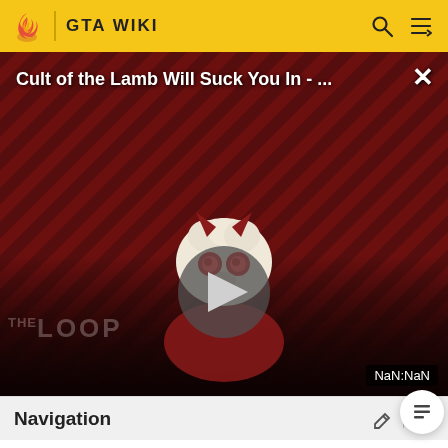GTA WIKI
[Figure (screenshot): Video thumbnail for 'Cult of the Lamb Will Suck You In - ...' with a diagonal red/dark striped background, a cartoon lamb character mascot with devil horns in the center, a large grey play button triangle overlay, and 'THE LOOP' watermark text in the lower left. A close (X) button is in the upper right. A 'NaN:NaN' time badge appears in the lower right corner.]
Navigation
MORE INFORMATION
Top Contributors